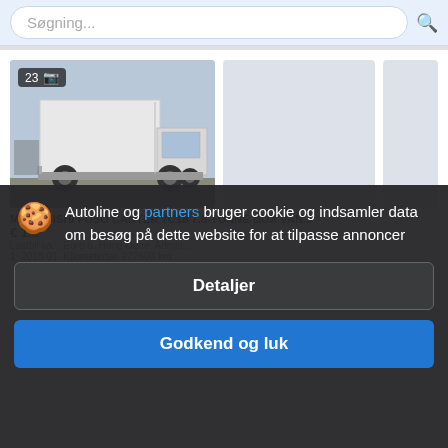Søgning...
[Figure (photo): White Mitsubishi Fuso Canter box van truck parked in a lot, badge showing 23 photos]
MITSUBISHI FUSO CANTER 7C18 7.5-TONNE BOX VAN...
€ 1...
Lastbil ka... Euro 6, Høng Dene, Admin...
1: 2018-01, Kilometertal: 272503 km
Autoline og partners bruger cookie og indsamler data om besøg på dette website for at tilpasse annoncer
Detaljer
Sælbytansen: Ollfe HH DEN71, Sævendoe Lån
Godkend og luk